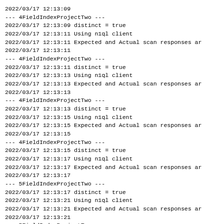2022/03/17 12:13:09
--- 4FieldIndexProjectTwo ---
2022/03/17 12:13:09 distinct = true
2022/03/17 12:13:11 Using n1ql client
2022/03/17 12:13:11 Expected and Actual scan responses ar
2022/03/17 12:13:11
--- 4FieldIndexProjectTwo ---
2022/03/17 12:13:11 distinct = true
2022/03/17 12:13:13 Using n1ql client
2022/03/17 12:13:13 Expected and Actual scan responses ar
2022/03/17 12:13:13
--- 4FieldIndexProjectTwo ---
2022/03/17 12:13:13 distinct = true
2022/03/17 12:13:15 Using n1ql client
2022/03/17 12:13:15 Expected and Actual scan responses ar
2022/03/17 12:13:15
--- 4FieldIndexProjectTwo ---
2022/03/17 12:13:15 distinct = true
2022/03/17 12:13:17 Using n1ql client
2022/03/17 12:13:17 Expected and Actual scan responses ar
2022/03/17 12:13:17
--- 5FieldIndexProjectTwo ---
2022/03/17 12:13:17 distinct = true
2022/03/17 12:13:21 Using n1ql client
2022/03/17 12:13:21 Expected and Actual scan responses ar
2022/03/17 12:13:21
--- 5FieldIndexProjectTwo ---
2022/03/17 12:13:21 distinct = true
2022/03/17 12:13:25 Using n1ql client
2022/03/17 12:13:25 Expected and Actual scan responses ar